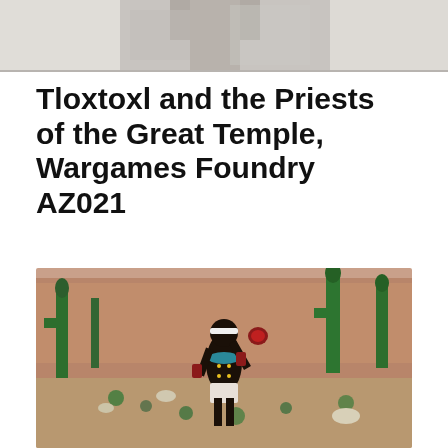[Figure (photo): Partial photo at top of page, black and white, showing a person, cropped]
Tloxtoxl and the Priests of the Great Temple, Wargames Foundry AZ021
[Figure (photo): Painted wargame miniature figure of a dark-skinned priest/warrior character holding a heart, posed in a desert diorama scene with cacti and red canyon backdrop]